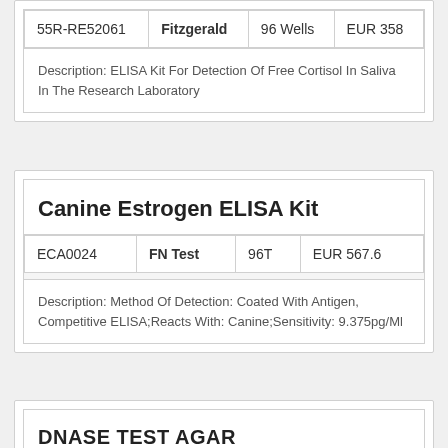| ID | Supplier | Size | Price |
| --- | --- | --- | --- |
| 55R-RE52061 | Fitzgerald | 96 Wells | EUR 358 |
Description: ELISA Kit For Detection Of Free Cortisol In Saliva In The Research Laboratory
Canine Estrogen ELISA Kit
| ID | Supplier | Size | Price |
| --- | --- | --- | --- |
| ECA0024 | FN Test | 96T | EUR 567.6 |
Description: Method Of Detection: Coated With Antigen, Competitive ELISA;Reacts With: Canine;Sensitivity: 9.375pg/Ml
DNASE TEST AGAR